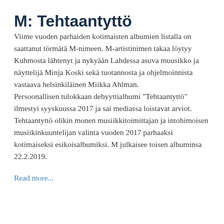M: Tehtaantyttö
Viime vuoden parhaiden kotimaisten albumien listalla on saattanut törmätä M-nimeen. M-artistinimen takaa löytyy Kuhmosta lähtenyt ja nykyään Lahdessa asuva muusikko ja näyttelijä Minja Koski sekä tuotannosta ja ohjelmoinnista vastaava helsinkiläinen Miikka Ahlman.
Persoonallisen tulokkaan debyyttialbumi "Tehtaantyttö" ilmestyi syyskuussa 2017 ja sai mediassa loistavat arviot. Tehtaantyttö olikin monen musiikkitoimittajan ja intohimoisen musiikinkuuntelijan valinta vuoden 2017 parhaaksi kotimaiseksi esikoisalbumiksi. M julkaisee toisen albuminsa 22.2.2019.
Read more...